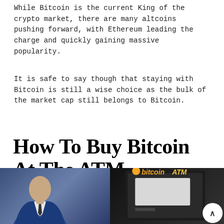While Bitcoin is the current King of the crypto market, there are many altcoins pushing forward, with Ethereum leading the charge and quickly gaining massive popularity.
It is safe to say though that staying with Bitcoin is still a wise choice as the bulk of the market cap still belongs to Bitcoin.
How To Buy Bitcoin At The ATM
[Figure (photo): Two photos side by side: left shows a man in a blue suit looking down; right shows a Bitcoin ATM machine with 'bitcoinATM' logo in orange/yellow italic text. A circular scroll-up button is visible in the bottom right corner.]